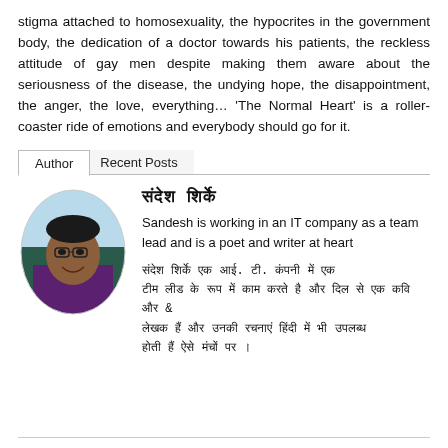stigma attached to homosexuality, the hypocrites in the government body, the dedication of a doctor towards his patients, the reckless attitude of gay men despite making them aware about the seriousness of the disease, the undying hope, the disappointment, the anger, the love, everything… 'The Normal Heart' is a roller-coaster ride of emotions and everybody should go for it.
Author | Recent Posts
[Figure (photo): Oval portrait photo of a man wearing glasses and a dark purple shirt, smiling]
सन्देश शिर्के (Sandesh Shirke in Hindi/Marathi script). Sandesh is working in an IT company as a team lead and is a poet and writer at heart. [Hindi/Marathi text about the author]